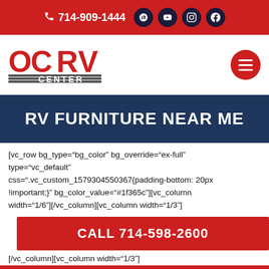714-909-1444
[Figure (logo): OCRV Center logo — red stylized letters OCRV above gray horizontal lines with CENTER text]
RV FURNITURE NEAR ME
[vc_row bg_type="bg_color" bg_override="ex-full" type="vc_default" css=".vc_custom_1579304550367{padding-bottom: 20px !important;}" bg_color_value="#1f365c"][vc_column width="1/6"][/vc_column][vc_column width="1/3"]
CALL 714-598-2600
[/vc_column][vc_column width="1/3"]
SEND AN EMAIL!